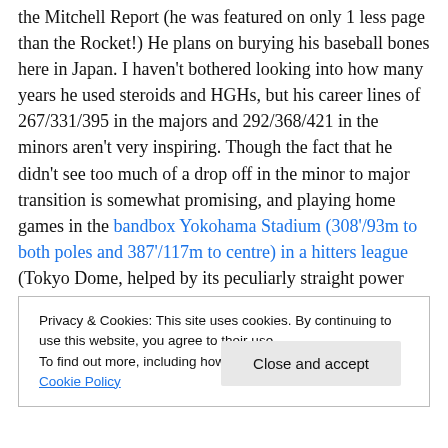the Mitchell Report (he was featured on only 1 less page than the Rocket!) He plans on burying his baseball bones here in Japan. I haven't bothered looking into how many years he used steroids and HGHs, but his career lines of 267/331/395 in the majors and 292/368/421 in the minors aren't very inspiring. Though the fact that he didn't see too much of a drop off in the minor to major transition is somewhat promising, and playing home games in the bandbox Yokohama Stadium (308'/93m to both poles and 387'/117m to centre) in a hitters league (Tokyo Dome, helped by its peculiarly straight power alleys, and tiny
Privacy & Cookies: This site uses cookies. By continuing to use this website, you agree to their use. To find out more, including how to control cookies, see here: Cookie Policy
Close and accept